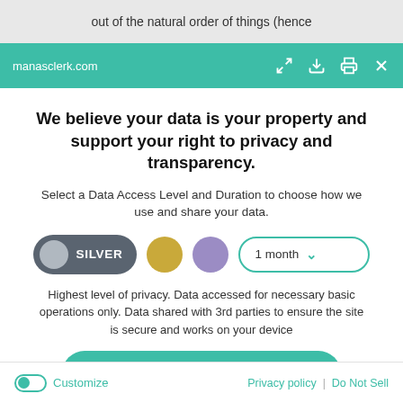out of the natural order of things (hence
[Figure (screenshot): Browser toolbar with manasclerk.com URL and teal background with icons]
We believe your data is your property and support your right to privacy and transparency.
Select a Data Access Level and Duration to choose how we use and share your data.
[Figure (infographic): Privacy level selector with SILVER pill toggle, gold circle, purple circle, and 1 month dropdown]
Highest level of privacy. Data accessed for necessary basic operations only. Data shared with 3rd parties to ensure the site is secure and works on your device
[Figure (infographic): Save my preferences button (teal, rounded)]
Customize | Privacy policy | Do Not Sell